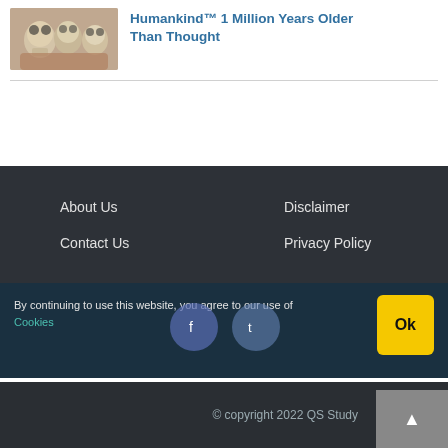[Figure (photo): Thumbnail photo of skulls/models of early human skulls held in hands]
Humankind™ 1 Million Years Older Than Thought
About Us
Disclaimer
Contact Us
Privacy Policy
By continuing to use this website, you agree to our use of Cookies
© copyright 2022 QS Study